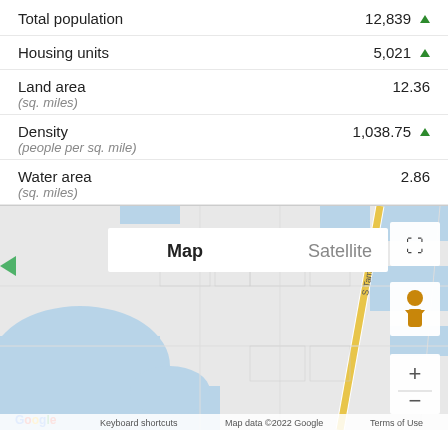Total population  12,839 ▲
Housing units  5,021 ▲
Land area  12.36
(sq. miles)
Density  1,038.75 ▲
(people per sq. mile)
Water area  2.86
(sq. miles)
[Figure (map): Google Map showing a coastal area with S Tamiami Trail road visible, water areas shown in blue, with Map/Satellite toggle and zoom controls. Keyboard shortcuts and Map data ©2022 Google Terms of Use shown at bottom.]